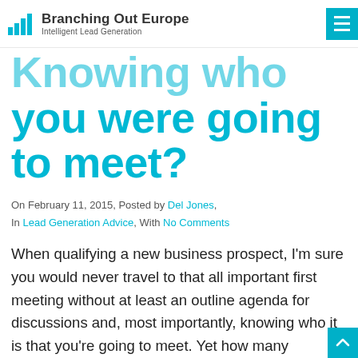Branching Out Europe — Intelligent Lead Generation
Knowing who you were going to meet?
On February 11, 2015, Posted by Del Jones, In Lead Generation Advice, With No Comments
When qualifying a new business prospect, I'm sure you would never travel to that all important first meeting without at least an outline agenda for discussions and, most importantly, knowing who it is that you're going to meet. Yet how many